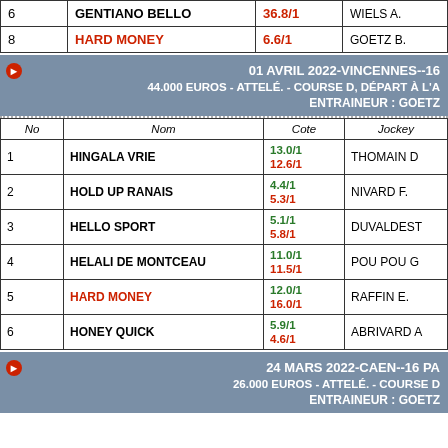| No | Nom | Cote | Jockey |
| --- | --- | --- | --- |
| 6 | GENTIANO BELLO | 36.8/1 | WIELS A. |
| 8 | HARD MONEY | 6.6/1 | GOETZ B. |
01 AVRIL 2022-VINCENNES--16
44.000 EUROS - ATTELÉ. - COURSE D, DÉPART À L'A
ENTRAINEUR : GOETZ
| No | Nom | Cote | Jockey |
| --- | --- | --- | --- |
| 1 | HINGALA VRIE | 13.0/1 12.6/1 | THOMAIN D |
| 2 | HOLD UP RANAIS | 4.4/1 5.3/1 | NIVARD F. |
| 3 | HELLO SPORT | 5.1/1 5.8/1 | DUVALDEST |
| 4 | HELALI DE MONTCEAU | 11.0/1 11.5/1 | POU POU G |
| 5 | HARD MONEY | 12.0/1 16.0/1 | RAFFIN E. |
| 6 | HONEY QUICK | 5.9/1 4.6/1 | ABRIVARD A |
24 MARS 2022-CAEN--16 PA
26.000 EUROS - ATTELÉ. - COURSE D
ENTRAINEUR : GOETZ